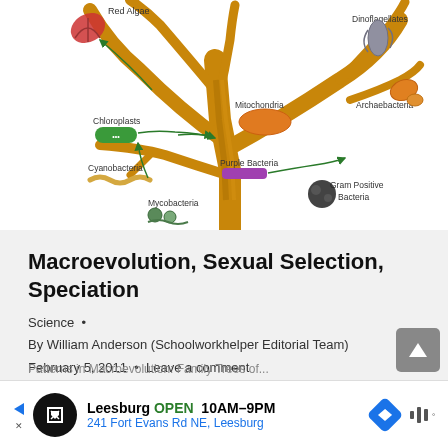[Figure (illustration): Phylogenetic tree of life (endosymbiosis diagram) showing labeled branches: Red Algae, Dinoflagellates, Archaebacteria, Gram Positive Bacteria, Mycobacteria, Purple Bacteria, Cyanobacteria, Mitochondria, Chloroplasts. A brown tree with illustrated organisms and green/teal arrows showing evolutionary relationships.]
Macroevolution, Sexual Selection, Speciation
Science •
By William Anderson (Schoolworkhelper Editorial Team)
February 5, 2011 • Leave a comment
Patterns in Macroevolution: Family Trees of...
[Figure (infographic): Advertisement bar at bottom: Leesburg OPEN 10AM-9PM, 241 Fort Evans Rd NE, Leesburg. Shows a black circle icon with navigation symbol, a blue navigation diamond icon, and music/audio icon.]